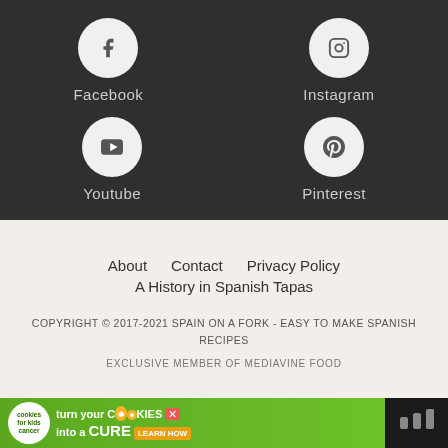[Figure (infographic): Social media links section on dark background with four icon circles: Facebook (f icon), Instagram (camera icon), Youtube (play icon), Pinterest (p icon), each with label below]
About   Contact   Privacy Policy   A History in Spanish Tapas
COPYRIGHT © 2017-2021 SPAIN ON A FORK - EASY TO MAKE SPANISH RECIPES
EXCLUSIVE MEMBER OF MEDIAVINE FOOD
[Figure (infographic): Advertisement banner: cookies for kids cancer - turn your COOKIES into a CURE LEARN HOW]